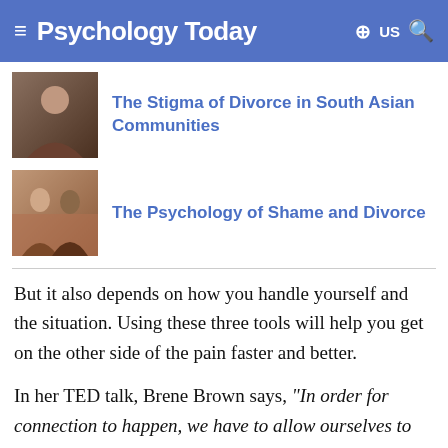Psychology Today
The Stigma of Divorce in South Asian Communities
The Psychology of Shame and Divorce
But it also depends on how you handle yourself and the situation. Using these three tools will help you get on the other side of the pain faster and better.
In her TED talk, Brene Brown says, "In order for connection to happen, we have to allow ourselves to be seen." This connection requires vulnerability